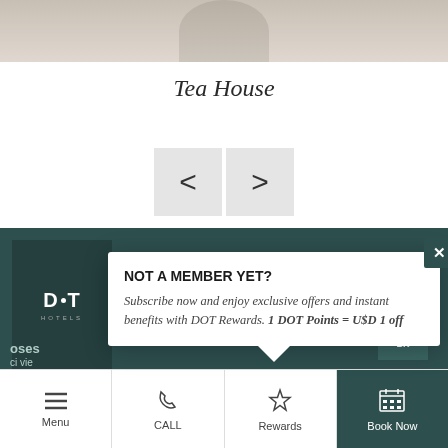[Figure (photo): Partial top of a tea cup image, cropped]
Tea House
[Figure (other): Navigation arrows left (<) and right (>) buttons]
[Figure (screenshot): Popup overlay with DOT Hotels logo and membership message: NOT A MEMBER YET? Subscribe now and enjoy exclusive offers and instant benefits with DOT Rewards. 1 DOT Points = U$D 1 off]
NOT A MEMBER YET?
Subscribe now and enjoy exclusive offers and instant benefits with DOT Rewards. 1 DOT Points = U$D 1 off
Menu  CALL  Rewards  Book Now